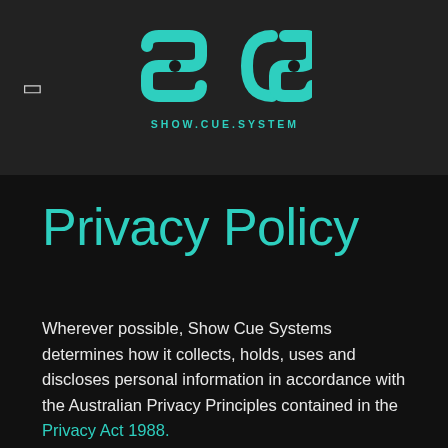[Figure (logo): SCS Show.Cue.System logo in teal/cyan color on dark background]
Privacy Policy
Wherever possible, Show Cue Systems determines how it collects, holds, uses and discloses personal information in accordance with the Australian Privacy Principles contained in the Privacy Act 1988.
Your privacy matters to us. This privacy